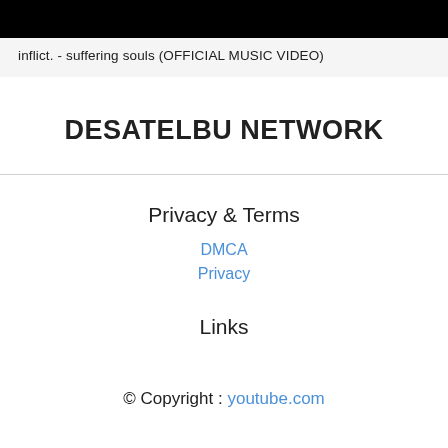[Figure (screenshot): Black video thumbnail bar at the top]
inflict. - suffering souls (OFFICIAL MUSIC VIDEO)
DESATELBU NETWORK
Privacy & Terms
DMCA
Privacy
Links
© Copyright : youtube.com